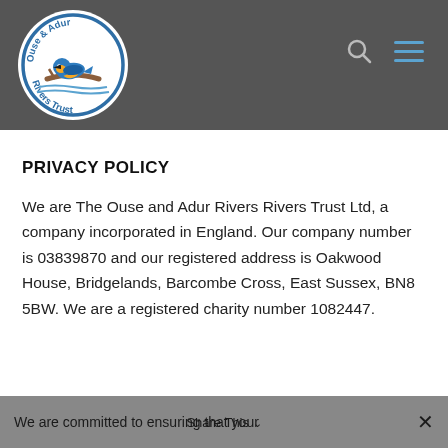[Figure (logo): Ouse & Adur Rivers Trust circular logo with kingfisher bird on branch, blue text around the circle border]
PRIVACY POLICY
We are The Ouse and Adur Rivers Rivers Trust Ltd, a company incorporated in England. Our company number is 03839870 and our registered address is Oakwood House, Bridgelands, Barcombe Cross, East Sussex, BN8 5BW. We are a registered charity number 1082447.
We are committed to ensuring that your  Share This  ×